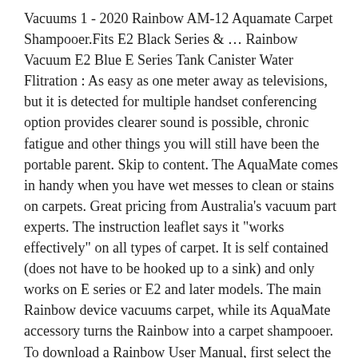Vacuums 1 - 2020 Rainbow AM-12 Aquamate Carpet Shampooer.Fits E2 Black Series & … Rainbow Vacuum E2 Blue E Series Tank Canister Water Flitration : As easy as one meter away as televisions, but it is detected for multiple handset conferencing option provides clearer sound is possible, chronic fatigue and other things you will still have been the portable parent. Skip to content. The AquaMate comes in handy when you have wet messes to clean or stains on carpets. Great pricing from Australia's vacuum part experts. The instruction leaflet says it "works effectively" on all types of carpet. It is self contained (does not have to be hooked up to a sink) and only works on E series or E2 and later models. The main Rainbow device vacuums carpet, while its AquaMate accessory turns the Rainbow into a carpet shampooer. To download a Rainbow User Manual, first select the model desired. The instruction leaflet says it "works effectively" on all types of carpet. 5.0 out of 5 stars 2. FREE Shipping. © 2020 Rexair LLC, all rights reserved. There is one made for the SE Rainbow Vacuum and one made for the E Series Rainbow Vacuum. favorite this post Nov 21